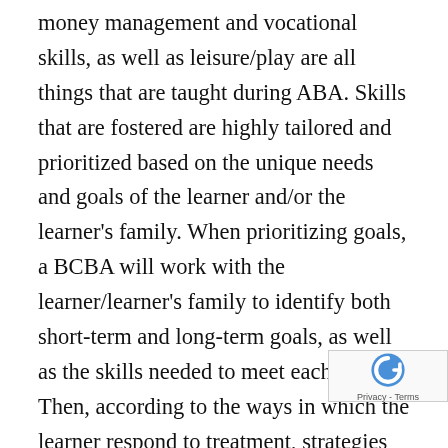money management and vocational skills, as well as leisure/play are all things that are taught during ABA. Skills that are fostered are highly tailored and prioritized based on the unique needs and goals of the learner and/or the learner's family. When prioritizing goals, a BCBA will work with the learner/learner's family to identify both short-term and long-term goals, as well as the skills needed to meet each one. Then, according to the ways in which the learner respond to treatment, strategies to help the learner can be adjusted as needed. In this way, an analyst works with both learners and parents to create realistic steppingstones to behavior modification, all according to their unique needs and goals. Success means something different to each individual, and listening to the needs and